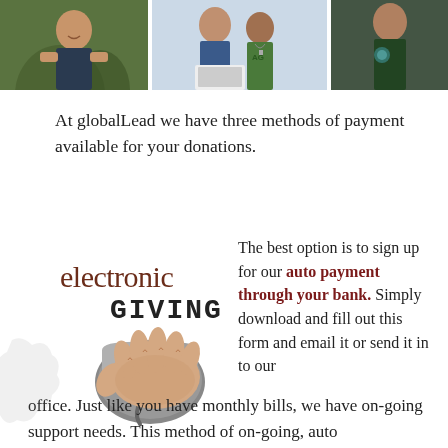[Figure (photo): Photo collage strip at top showing multiple people including smiling faces against green and blue backgrounds]
At globalLead we have three methods of payment available for your donations.
[Figure (illustration): Electronic Giving graphic showing 'electronic GIVING' text with a hand using a computer mouse]
The best option is to sign up for our auto payment through your bank. Simply download and fill out this form and email it or send it in to our office. Just like you have monthly bills, we have on-going support needs. This method of on-going, auto